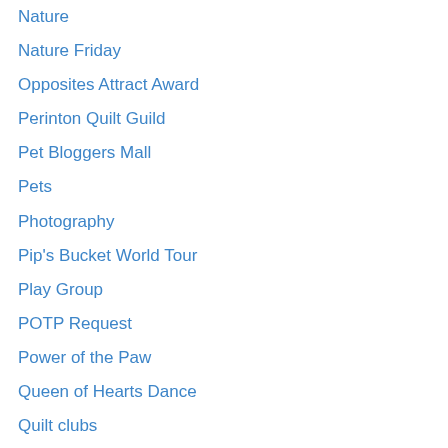Nature
Nature Friday
Opposites Attract Award
Perinton Quilt Guild
Pet Bloggers Mall
Pets
Photography
Pip's Bucket World Tour
Play Group
POTP Request
Power of the Paw
Queen of Hearts Dance
Quilt clubs
Privacy & Cookies: This site uses cookies. By continuing to use this website, you agree to their use.
To find out more, including how to control cookies, see here: Cookie Policy
Sewing